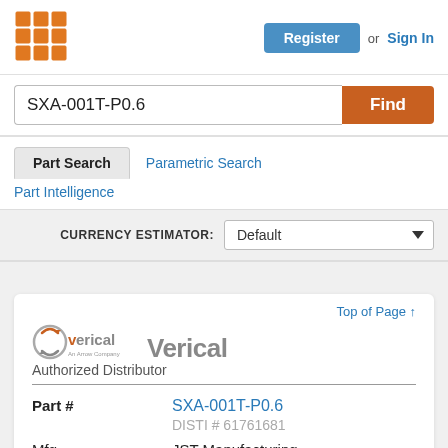[Figure (logo): Orange grid/waffle icon logo in top-left header]
Register or Sign In
SXA-001T-P0.6
Find
Part Search
Parametric Search
Part Intelligence
CURRENCY ESTIMATOR: Default
[Figure (logo): Verical (An Arrow Company) logo with circular arrow icon and bold Verical wordmark]
Top of Page ↑
Authorized Distributor
| Field | Value |
| --- | --- |
| Part # | SXA-001T-P0.6
DISTI # 61761681 |
| Mfg. | JST Manufacturing |